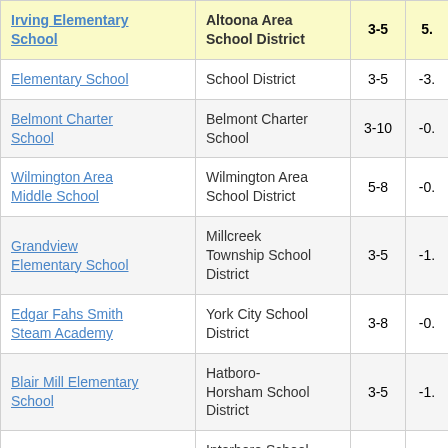| School | District | Grades | Score |
| --- | --- | --- | --- |
| Irving Elementary School | Altoona Area School District | 3-5 | 5. |
| Elementary School | School District | 3-5 | -3. |
| Belmont Charter School | Belmont Charter School | 3-10 | -0. |
| Wilmington Area Middle School | Wilmington Area School District | 5-8 | -0. |
| Grandview Elementary School | Millcreek Township School District | 3-5 | -1. |
| Edgar Fahs Smith Steam Academy | York City School District | 3-8 | -0. |
| Blair Mill Elementary School | Hatboro-Horsham School District | 3-5 | -1. |
| Norwood School | Interboro School District | 3-8 | -0. |